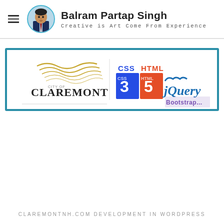Balram Partap Singh — Creative is Art Come From Experience
[Figure (screenshot): Website portfolio banner showing Claremont city logo and CSS3, HTML5, jQuery, Bootstrap technology logos on a white background with teal border]
CLAREMONTNH.COM DEVELOPMENT IN WORDPRESS